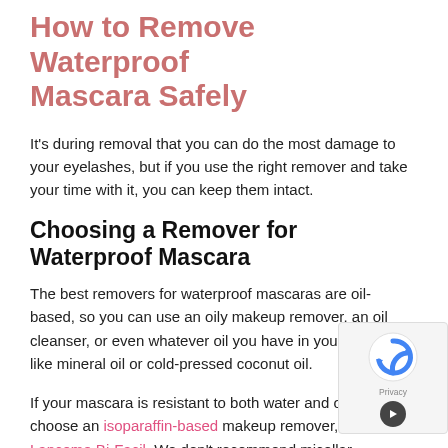How to Remove Waterproof Mascara Safely
It's during removal that you can do the most damage to your eyelashes, but if you use the right remover and take your time with it, you can keep them intact.
Choosing a Remover for Waterproof Mascara
The best removers for waterproof mascaras are oil-based, so you can use an oily makeup remover, an oil cleanser, or even whatever oil you have in your house, like mineral oil or cold-pressed coconut oil.
If your mascara is resistant to both water and oil, choose an isoparaffin-based makeup remover, like Lancome Bi-Facil. We don't recommend micellar